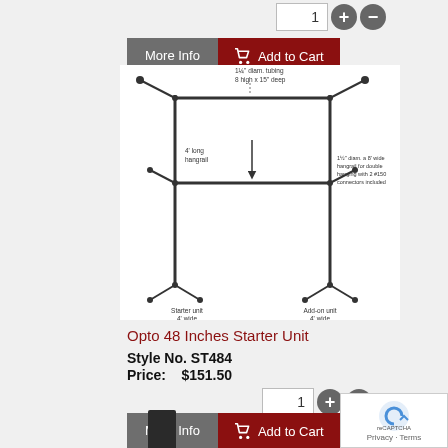[Figure (screenshot): Quantity input box showing '1' with plus and minus buttons]
[Figure (screenshot): More Info (gray) and Add to Cart (dark red with cart icon) buttons]
[Figure (engineering-diagram): Technical line drawing of Opto 48 Inches Starter Unit closet organizer with labels: 1.5 inch diam. tubing, 8 high x 15 deep, 4 long hangrail, 1.5 inch diam. a 8 wide hangrail for double hanging with 2 #150 connectors included, Starter unit 4 wide, Add-on unit 4 wide]
Opto 48 Inches Starter Unit
Style No. ST484
Price:    $151.50
[Figure (screenshot): Quantity input box showing '1' with plus and minus buttons]
[Figure (screenshot): More Info (gray) and Add to Cart (dark red with cart icon) buttons]
[Figure (photo): Bottom portion of a dark cylindrical pole or post product]
[Figure (other): reCAPTCHA Privacy - Terms badge in bottom right corner]